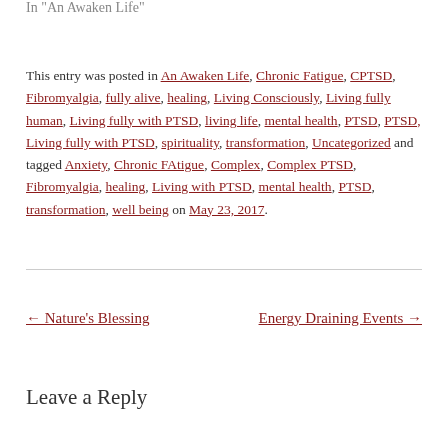In "An Awaken Life"
This entry was posted in An Awaken Life, Chronic Fatigue, CPTSD, Fibromyalgia, fully alive, healing, Living Consciously, Living fully human, Living fully with PTSD, living life, mental health, PTSD, PTSD, Living fully with PTSD, spirituality, transformation, Uncategorized and tagged Anxiety, Chronic FAtigue, Complex, Complex PTSD, Fibromyalgia, healing, Living with PTSD, mental health, PTSD, transformation, well being on May 23, 2017.
← Nature's Blessing
Energy Draining Events →
Leave a Reply